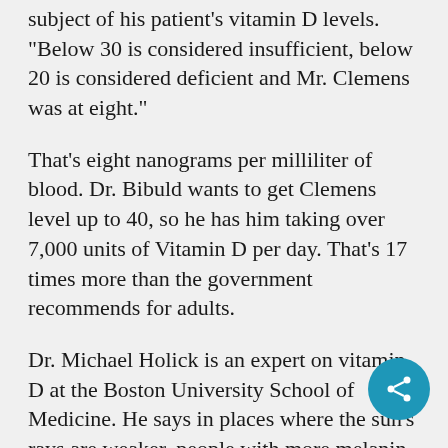subject of his patient's vitamin D levels. "Below 30 is considered insufficient, below 20 is considered deficient and Mr. Clemens was at eight."
That's eight nanograms per milliliter of blood. Dr. Bibuld wants to get Clemens level up to 40, so he has him taking over 7,000 units of Vitamin D per day. That's 17 times more than the government recommends for adults.
Dr. Michael Holick is an expert on vitamin D at the Boston University School of Medicine. He says in places where the sun's rays are weaker, people with more melanin are at a disadvantage when it comes to getting the vitamin D they need:
"Vitamin D helps control cell growth and that's